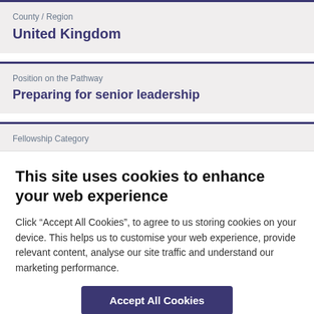County / Region
United Kingdom
Position on the Pathway
Preparing for senior leadership
Fellowship Category
This site uses cookies to enhance your web experience
Click “Accept All Cookies”, to agree to us storing cookies on your device. This helps us to customise your web experience, provide relevant content, analyse our site traffic and understand our marketing performance.